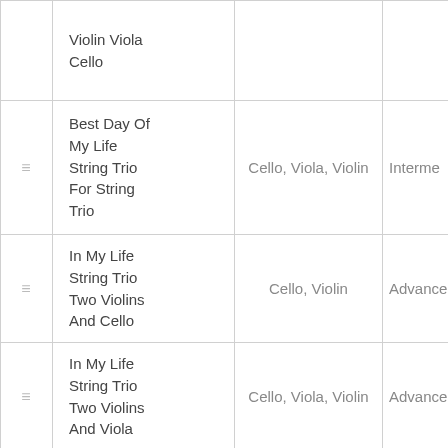|  | Title | Instruments | Level |
| --- | --- | --- | --- |
| ≡ | Violin Viola Cello |  |  |
| ≡ | Best Day Of My Life String Trio For String Trio | Cello, Viola, Violin | Interme… |
| ≡ | In My Life String Trio Two Violins And Cello | Cello, Violin | Advance… |
| ≡ | In My Life String Trio Two Violins And Viola | Cello, Viola, Violin | Advance… |